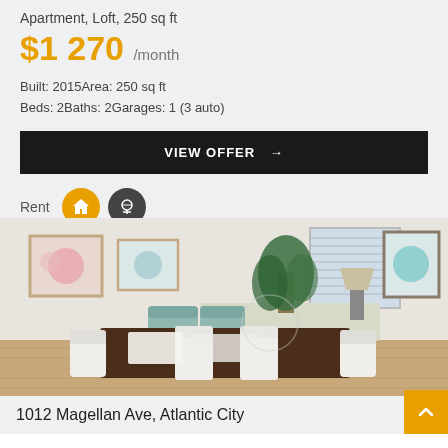Apartment, Loft, 250 sq ft
$1 270 /month
Built: 2015Area: 250 sq ft
Beds: 2Baths: 2Garages: 1 (3 auto)
VIEW OFFER →
Rent
[Figure (photo): Interior photo of an apartment living/dining area with a dark wood dining table, white chairs, teal armchairs, framed artwork on white walls, and a potted plant near a bright window]
1012 Magellan Ave, Atlantic City